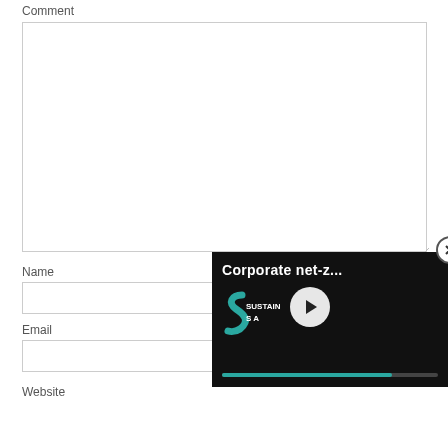Comment
[Figure (screenshot): Comment textarea input box with resize handle]
Name
[Figure (screenshot): Name text input field]
Email
[Figure (screenshot): Email text input field]
Website
[Figure (screenshot): Video popup overlay showing 'Corporate net-z...' with play button and teal progress bar, and a close button]